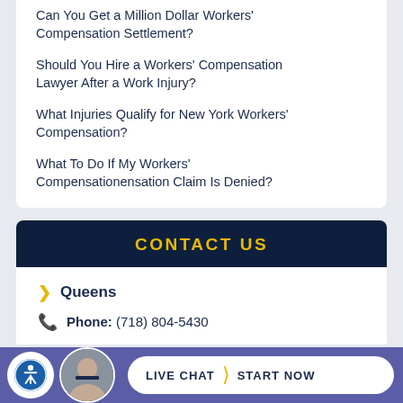Can You Get a Million Dollar Workers' Compensation Settlement?
Should You Hire a Workers' Compensation Lawyer After a Work Injury?
What Injuries Qualify for New York Workers' Compensation?
What To Do If My Workers' Compensationensation Claim Is Denied?
CONTACT US
Queens
Phone: (718) 804-5430
LIVE CHAT | START NOW